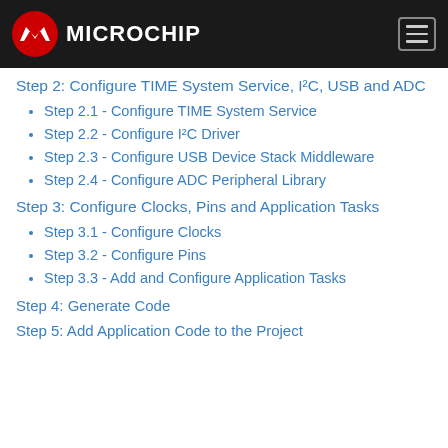Microchip
Step 2: Configure TIME System Service, I²C, USB and ADC
Step 2.1 - Configure TIME System Service
Step 2.2 - Configure I²C Driver
Step 2.3 - Configure USB Device Stack Middleware
Step 2.4 - Configure ADC Peripheral Library
Step 3: Configure Clocks, Pins and Application Tasks
Step 3.1 - Configure Clocks
Step 3.2 - Configure Pins
Step 3.3 - Add and Configure Application Tasks
Step 4: Generate Code
Step 5: Add Application Code to the Project